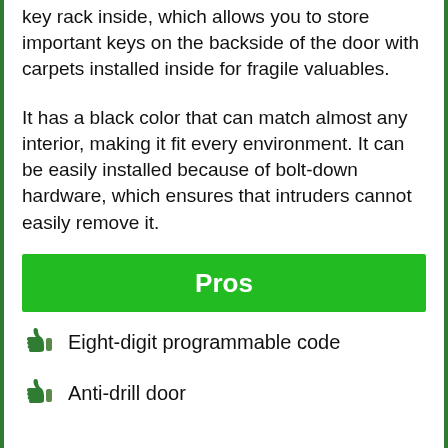key rack inside, which allows you to store important keys on the backside of the door with carpets installed inside for fragile valuables.
It has a black color that can match almost any interior, making it fit every environment. It can be easily installed because of bolt-down hardware, which ensures that intruders cannot easily remove it.
Pros
Eight-digit programmable code
Anti-drill door